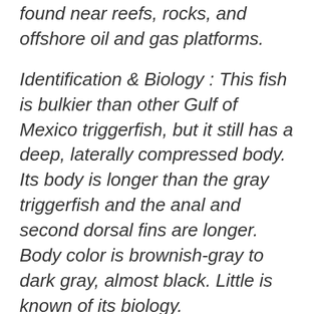found near reefs, rocks, and offshore oil and gas platforms.
Identification & Biology : This fish is bulkier than other Gulf of Mexico triggerfish, but it still has a deep, laterally compressed body. Its body is longer than the gray triggerfish and the anal and second dorsal fins are longer. Body color is brownish-gray to dark gray, almost black. Little is known of its biology.
Size : Ocean triggerfish average 3-5 pounds, often larger